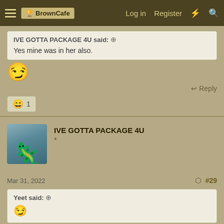BrownCafe   Log in   Register
IVE GOTTA PACKAGE 4U said: ↑
Yes mine was in her also.
[Figure (illustration): Smirking face emoji]
Reply
😄 1
IVE GOTTA PACKAGE 4U
*
Mar 31, 2022   #29
Yeet said: ↑
😏
Damn somebody actually read my post